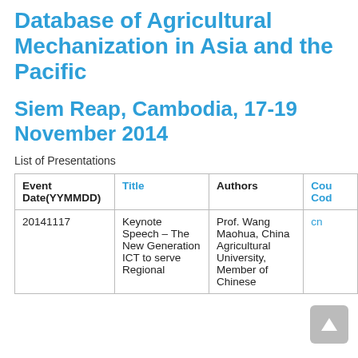Database of Agricultural Mechanization in Asia and the Pacific
Siem Reap, Cambodia, 17-19 November 2014
List of Presentations
| Event Date(YYMMDD) | Title | Authors | Country Code |
| --- | --- | --- | --- |
| 20141117 | Keynote Speech – The New Generation ICT to serve Regional … | Prof. Wang Maohua, China Agricultural University, Member of Chinese … | cn |